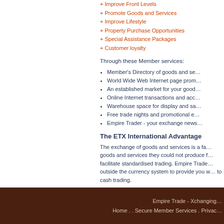+ Improve Front Levels
+ Promote Goods and Services
+ Improve Lifestyle
+ Property Purchase Opportunities
+ Special Assistance Packages
+ Customer loyalty
Through these Member services:
Member's Directory of goods and se…
World Wide Web Internet page prom…
An established market for your good…
Online Internet transactions and acc…
Warehouse space for display and sa…
Free trade nights and promotional e…
Empire Trader - your exchange news…
The ETX International Advantage
The exchange of goods and services is a fa… goods and services they could not produce f… facilitate standardised trading. Empire Trade… outside the currency system to provide you w… to cash trading.
If you would like to discuss how Empire Trad… 1305 to arrange an appointment with one of …
Empire Trade - Xchanging… Home . . Secure Member Services . Privac…